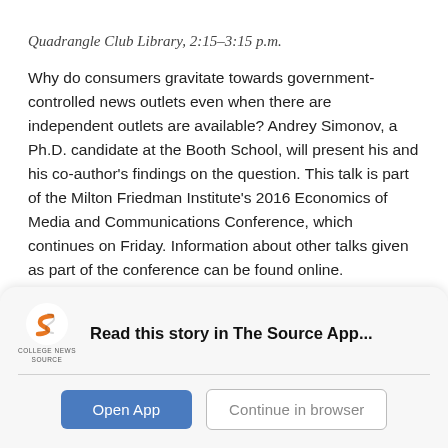Quadrangle Club Library, 2:15–3:15 p.m.
Why do consumers gravitate towards government-controlled news outlets even when there are independent outlets are available? Andrey Simonov, a Ph.D. candidate at the Booth School, will present his and his co-author's findings on the question. This talk is part of the Milton Friedman Institute's 2016 Economics of Media and Communications Conference, which continues on Friday. Information about other talks given as part of the conference can be found online.
[Figure (logo): College News Source app logo — stylized orange and black 'S' with text 'COLLEGE NEWS SOURCE' below]
Read this story in The Source App...
Open App
Continue in browser